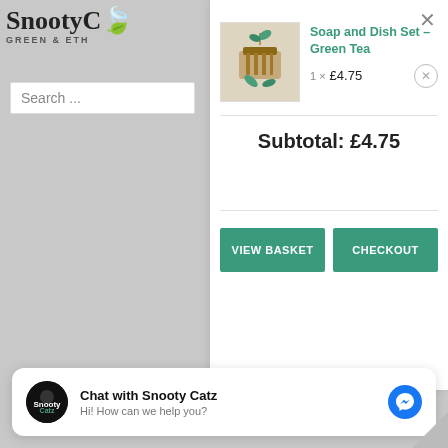[Figure (screenshot): SnootypCatz GREEN & ETH logo with leaf icon in top-left grey sidebar]
Search ...
×
[Figure (photo): Soap and dish set product image with leaves]
Soap and Dish Set - Green Tea
1 × £4.75
Subtotal: £4.75
VIEW BASKET
CHECKOUT
Chat with Snooty Catz
Hi! How can we help you?